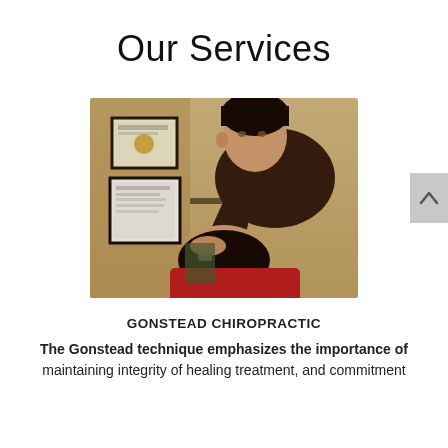Our Services
[Figure (photo): A chiropractor performing a neck adjustment on a patient. The practitioner, wearing a dark brown shirt, leans over a patient in a red top who is reclining. Framed certificates are visible on the wall in the background.]
GONSTEAD CHIROPRACTIC
The Gonstead technique emphasizes the importance of maintaining integrity of healing treatment, and commitment